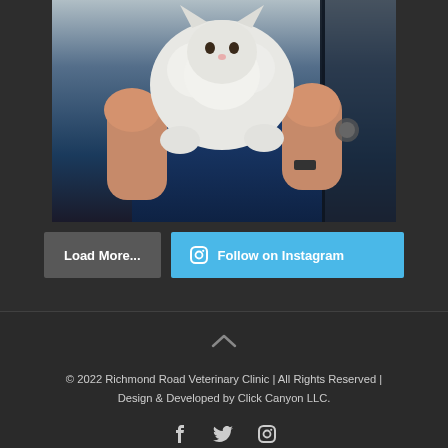[Figure (photo): A veterinarian in blue scrubs holding up a fluffy white/grey kitten with both hands. The photo shows the person from chest down, holding the kitten up near a door. Dark background.]
Load More...
Follow on Instagram
© 2022 Richmond Road Veterinary Clinic | All Rights Reserved | Design & Developed by Click Canyon LLC.